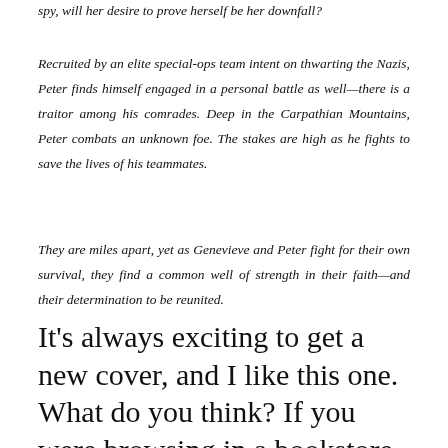spy, will her desire to prove herself be her downfall?
Recruited by an elite special-ops team intent on thwarting the Nazis, Peter finds himself engaged in a personal battle as well—there is a traitor among his comrades. Deep in the Carpathian Mountains, Peter combats an unknown foe. The stakes are high as he fights to save the lives of his teammates.
They are miles apart, yet as Genevieve and Peter fight for their own survival, they find a common well of strength in their faith—and their determination to be reunited.
It's always exciting to get a new cover, and I like this one. What do you think? If you were browsing in a bookstore,